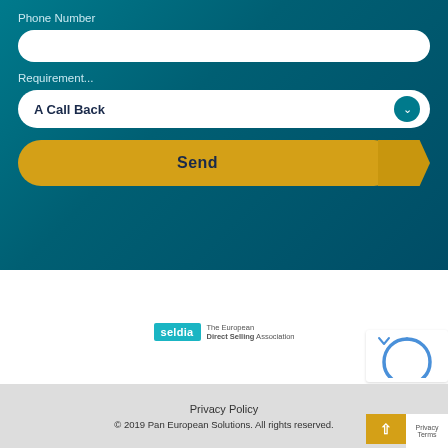Phone Number
[Figure (screenshot): White rounded input field for phone number]
Requirement...
[Figure (screenshot): White rounded dropdown field showing 'A Call Back' with teal chevron icon]
[Figure (screenshot): Golden yellow Send button with arrow shape on right side]
[Figure (logo): Seldia logo - The European Direct Selling Association]
Privacy Policy
© 2019 Pan European Solutions. All rights reserved.